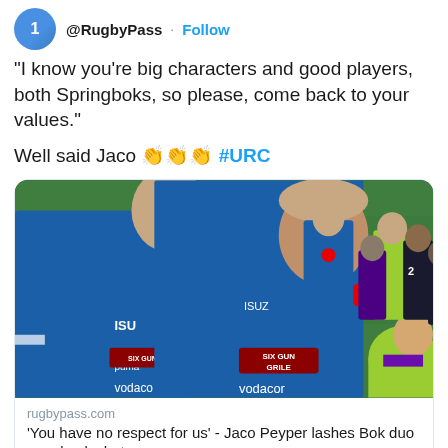@RugbyPass · Follow
"I know you're big characters and good players, both Springboks, so please, come back to your values."
Well said Jaco 👏👏👏 #URC
[Figure (photo): Rugby match scene showing players in blue Vodacom Bulls jerseys and a referee in hi-vis green jacket on a grass field]
rugbypass.com
'You have no respect for us' - Jaco Peyper lashes Bok duo over back chat